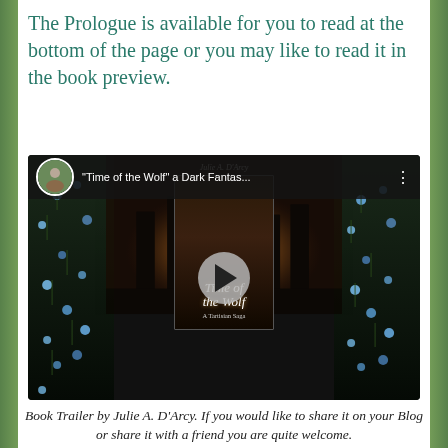The Prologue is available for you to read at the bottom of the page or you may like to read it in the book preview.
[Figure (screenshot): Video thumbnail screenshot showing a YouTube-style video player for 'Time of the Wolf a Dark Fantas...' book trailer by Julie A. D'Arcy. The video shows the book cover of 'Time of the Wolf: A Tartisian Saga' surrounded by blue flowers against a dark background. A play button is visible in the center.]
Book Trailer by Julie A. D'Arcy. If you would like to share it on your Blog or share it with a friend you are quite welcome. Just push share.